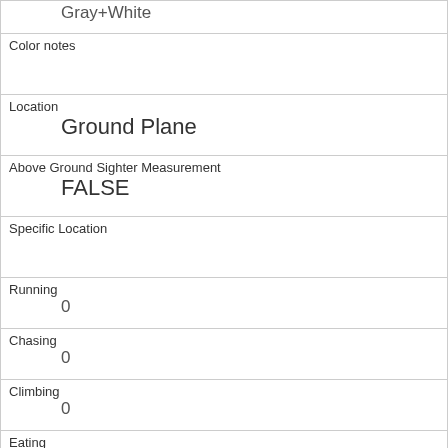| Gray+White |
| Color notes |  |
| Location | Ground Plane |
| Above Ground Sighter Measurement | FALSE |
| Specific Location |  |
| Running | 0 |
| Chasing | 0 |
| Climbing | 0 |
| Eating | 0 |
| Foraging | 1 |
| Other Activities | drank from a pond of rain water |